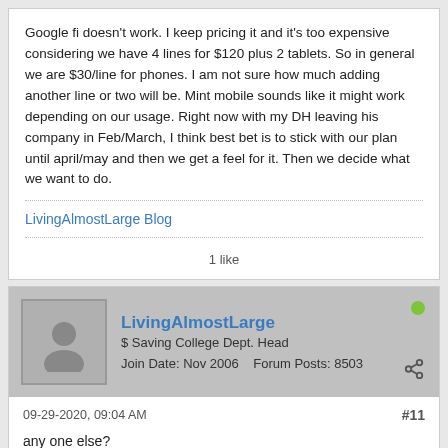Google fi doesn't work. I keep pricing it and it's too expensive considering we have 4 lines for $120 plus 2 tablets. So in general we are $30/line for phones. I am not sure how much adding another line or two will be. Mint mobile sounds like it might work depending on our usage. Right now with my DH leaving his company in Feb/March, I think best bet is to stick with our plan until april/may and then we get a feel for it. Then we decide what we want to do.
LivingAlmostLarge Blog
1 like
LivingAlmostLarge
$ Saving College Dept. Head
Join Date: Nov 2006    Forum Posts: 8503
09-29-2020, 09:04 AM
#11
any one else?
LivingAlmostLarge Blog